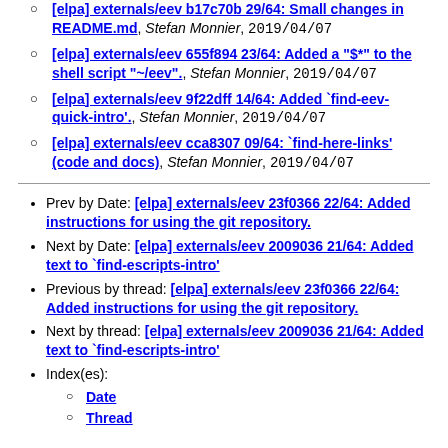[elpa] externals/eev b17c70b 29/64: Small changes in README.md, Stefan Monnier, 2019/04/07
[elpa] externals/eev 655f894 23/64: Added a "$*" to the shell script "~/eev"., Stefan Monnier, 2019/04/07
[elpa] externals/eev 9f22dff 14/64: Added `find-eev-quick-intro'., Stefan Monnier, 2019/04/07
[elpa] externals/eev cca8307 09/64: `find-here-links' (code and docs), Stefan Monnier, 2019/04/07
Prev by Date: [elpa] externals/eev 23f0366 22/64: Added instructions for using the git repository.
Next by Date: [elpa] externals/eev 2009036 21/64: Added text to `find-escripts-intro'
Previous by thread: [elpa] externals/eev 23f0366 22/64: Added instructions for using the git repository.
Next by thread: [elpa] externals/eev 2009036 21/64: Added text to `find-escripts-intro'
Index(es):
Date
Thread